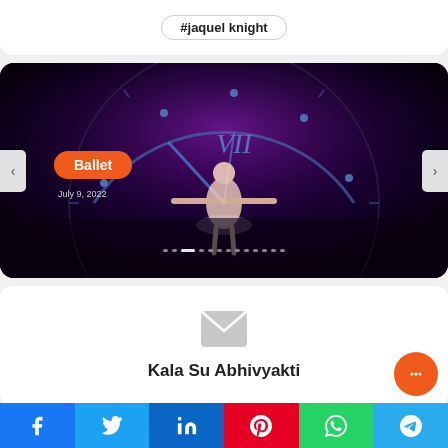#jaquel knight
[Figure (photo): Ballet performance carousel slide showing a ballet dancer in front of a large clock with Roman numerals. Dark purple/black background with a 'Ballet' orange badge label and date 'July 9, 2022'. Navigation arrows on both sides and pagination dots at the bottom.]
Kala Su Abhivyakti
Facebook Twitter LinkedIn Pinterest WhatsApp Telegram social share buttons